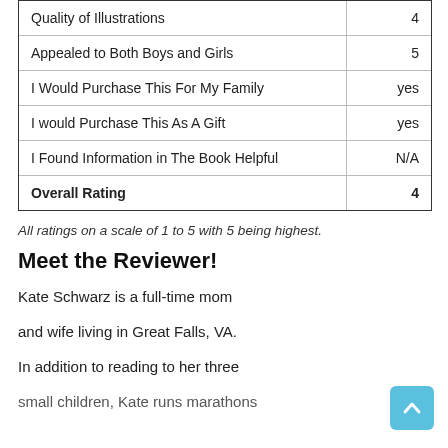|  |  |
| --- | --- |
| Quality of Illustrations | 4 |
| Appealed to Both Boys and Girls | 5 |
| I Would Purchase This For My Family | yes |
| I would Purchase This As A Gift | yes |
| I Found Information in The Book Helpful | N/A |
| Overall Rating | 4 |
All ratings on a scale of 1 to 5 with 5 being highest.
Meet the Reviewer!
Kate Schwarz is a full-time mom
and wife living in Great Falls, VA.
In addition to reading to her three
small children, Kate runs marathons